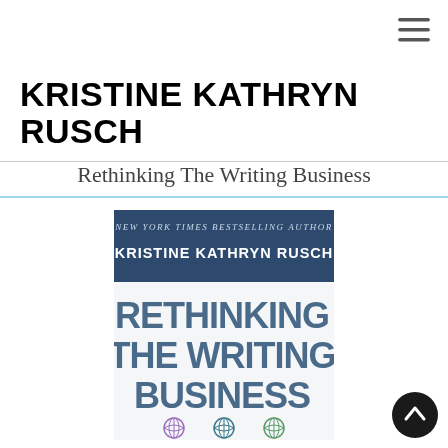[Figure (other): Hamburger menu icon (three horizontal lines) in top right corner]
KRISTINE KATHRYN RUSCH
Rethinking The Writing Business
[Figure (illustration): Book cover for 'Rethinking The Writing Business' by Kristine Kathryn Rusch — dark navy header band with text 'NEW YORK TIMES BESTSELLING AUTHOR KRISTINE KATHRYN RUSCH', followed by large bold steel-blue text 'RETHINKING THE WRITING BUSINESS', then three small globe/brain icons at the bottom]
[Figure (other): Scroll-to-top circular button (dark circle with upward chevron) in bottom right corner]